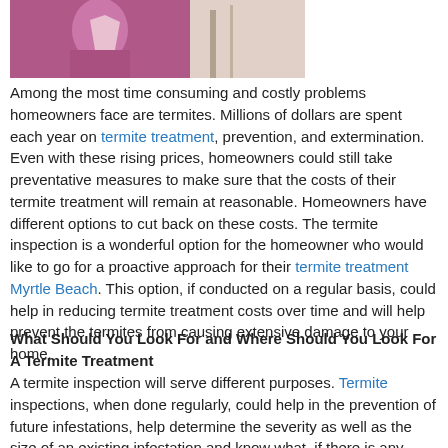[Figure (photo): Partial photo of a person in a purple/magenta top, cropped at top of page]
Among the most time consuming and costly problems homeowners face are termites. Millions of dollars are spent each year on termite treatment, prevention, and extermination. Even with these rising prices, homeowners could still take preventative measures to make sure that the costs of their termite treatment will remain at reasonable. Homeowners have different options to cut back on these costs. The termite inspection is a wonderful option for the homeowner who would like to go for a proactive approach for their termite treatment Myrtle Beach. This option, if conducted on a regular basis, could help in reducing termite treatment costs over time and will help prevent the termites from causing extensive damage to your home.
What Should You Look For and Where Should You Look For A Termite Treatment
A termite inspection will serve different purposes. Termite inspections, when done regularly, could help in the prevention of future infestations, help determine the severity as well as the size of an existing infestation and know what, if there is any, termite damage might already be present.